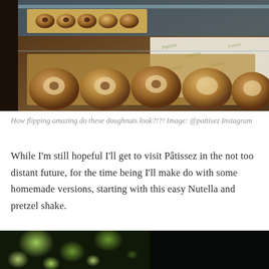[Figure (photo): Bakery display case showing rows of round doughnuts arranged in gold/brown boxes, with branded Pattisez tissue paper visible. The doughnuts appear toasted/glazed and are on display in what appears to be a glass-fronted bakery counter.]
How flipping amazing do these doughnuts look?!?! Image: @pattisez Instagram
While I’m still hopeful I’ll get to visit Pâtissez in the not too distant future, for the time being I’ll make do with some homemade versions, starting with this easy Nutella and pretzel shake.
[Figure (photo): Blurred outdoor photo with green bokeh light spots against a dark background, likely a garden or outdoor setting.]